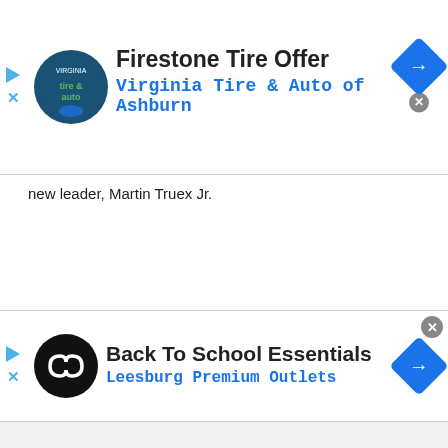[Figure (screenshot): Firestone Tire Offer ad banner — Virginia Tire & Auto of Ashburn logo, ad title and subtitle, navigation arrow button]
new leader, Martin Truex Jr.
Advertisements
[Figure (photo): CodeMonkey advertisement — yellow background, monkey logo, 'Coding for kids' text, child leaning toward camera]
[Figure (screenshot): Back To School Essentials ad banner — Leesburg Premium Outlets logo, ad title and subtitle, navigation arrow button]